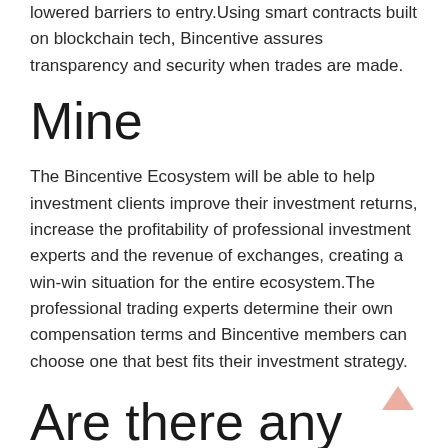lowered barriers to entry.Using smart contracts built on blockchain tech, Bincentive assures transparency and security when trades are made.
Mine
The Bincentive Ecosystem will be able to help investment clients improve their investment returns, increase the profitability of professional investment experts and the revenue of exchanges, creating a win-win situation for the entire ecosystem.The professional trading experts determine their own compensation terms and Bincentive members can choose one that best fits their investment strategy.
Are there any alternative platforms to